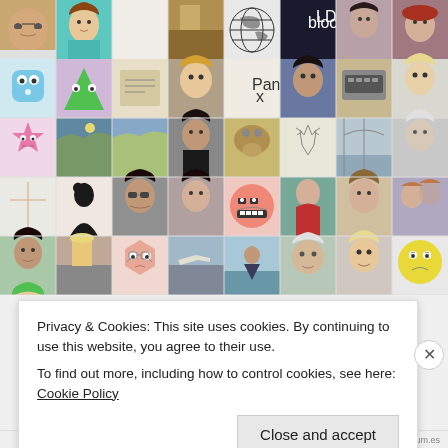[Figure (screenshot): Grid of user avatar thumbnails from a social/blog platform, showing profile photos, illustrations, logos, and cartoon avatars arranged in a 8-column grid]
Privacy & Cookies: This site uses cookies. By continuing to use this website, you agree to their use.
To find out more, including how to control cookies, see here: Cookie Policy
Close and accept